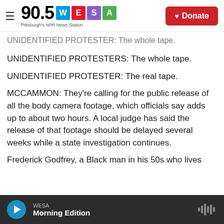90.5 WESA Pittsburgh's NPR News Station | Donate
UNIDENTIFIED PROTESTER: The whole tape.
UNIDENTIFIED PROTESTERS: The whole tape.
UNIDENTIFIED PROTESTER: The real tape.
MCCAMMON: They're calling for the public release of all the body camera footage, which officials say adds up to about two hours. A local judge has said the release of that footage should be delayed several weeks while a state investigation continues.
Frederick Godfrey, a Black man in his 50s who lives
WESA Morning Edition